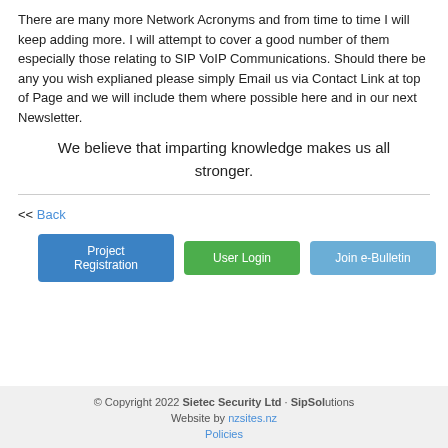There are many more Network Acronyms and from time to time I will keep adding more. I will attempt to cover a good number of them especially those relating to SIP VoIP Communications. Should there be any you wish explianed please simply Email us via Contact Link at top of Page and we will include them where possible here and in our next Newsletter.
We believe that imparting knowledge makes us all stronger.
<< Back
Project Registration  User Login  Join e-Bulletin
© Copyright 2022 Sietec Security Ltd · SipSolutions
Website by nzsites.nz
Policies